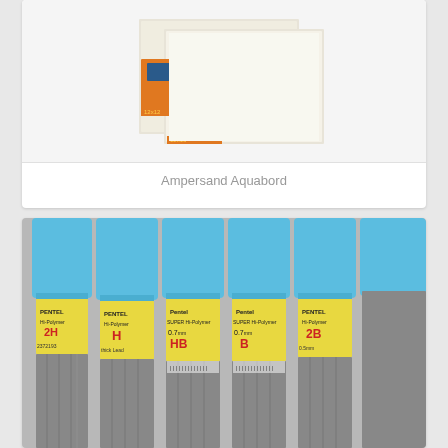[Figure (photo): Product photo of Ampersand Aquabord art boards showing two panels with orange packaging label]
Ampersand Aquabord
[Figure (photo): Five tubes of Pentel pencil leads with blue caps showing grades: 2H, H, 0.7mm HB, 0.7mm B, 2B]